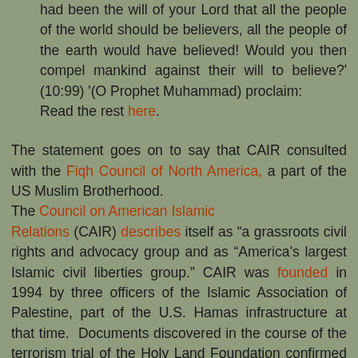had been the will of your Lord that all the people of the world should be believers, all the people of the earth would have believed! Would you then compel mankind against their will to believe?' (10:99) '(O Prophet Muhammad) proclaim: Read the rest here.
The statement goes on to say that CAIR consulted with the Fiqh Council of North America, a part of the US Muslim Brotherhood. The Council on American Islamic Relations (CAIR) describes itself as "a grassroots civil rights and advocacy group and as "America's largest Islamic civil liberties group." CAIR was founded in 1994 by three officers of the Islamic Association of Palestine, part of the U.S. Hamas infrastructure at that time. Documents discovered in the course of the terrorism trial of the Holy Land Foundation confirmed that the founders and current leaders of CAIR were part of the Palestine Committee of the Muslim Brotherhood and that CAIR itself is part of the US. Muslim Brotherhood. In 2008, the then Deputy leader of the Egyptian Muslim Brotherhood acknowledged a relationship between